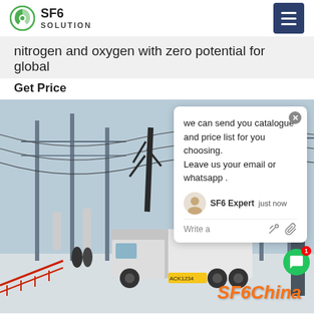SF6 SOLUTION
nitrogen and oxygen with zero potential for global
Get Price
[Figure (photo): Photograph of an SF6 service truck (white box truck) parked at an electrical substation in winter/snow conditions, with high-voltage transmission infrastructure visible overhead. A chat popup overlay is visible in the upper right of the image showing a message about sending a catalogue and price list. The SF6China logo/watermark is at the bottom right.]